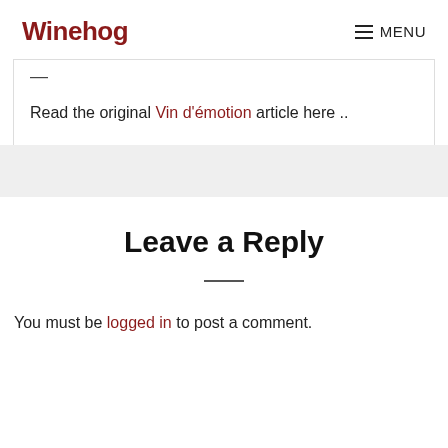Winehog  MENU
—
Read the original Vin d'émotion article here ..
Leave a Reply
—
You must be logged in to post a comment.